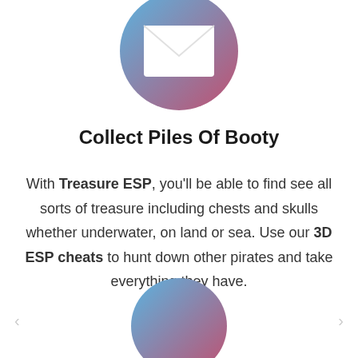[Figure (illustration): Circular gradient icon (blue to red/pink) with a white envelope/message icon in the center, cropped at top of page]
Collect Piles Of Booty
With Treasure ESP, you'll be able to find see all sorts of treasure including chests and skulls whether underwater, on land or sea. Use our 3D ESP cheats to hunt down other pirates and take everything they have.
[Figure (illustration): Circular gradient icon (blue to red/pink), partially cropped at bottom of page]